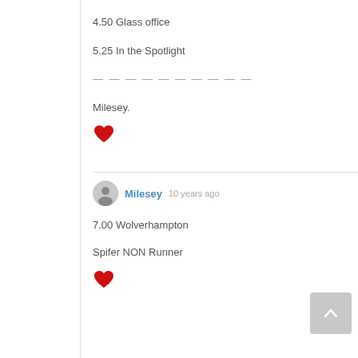4.50 Glass office
5.25 In the Spotlight
— — — — — — — — — —
Milesey.
[Figure (illustration): Red heart icon]
Milesey 10 years ago
7.00 Wolverhampton
Spifer NON Runner
[Figure (illustration): Red heart icon]